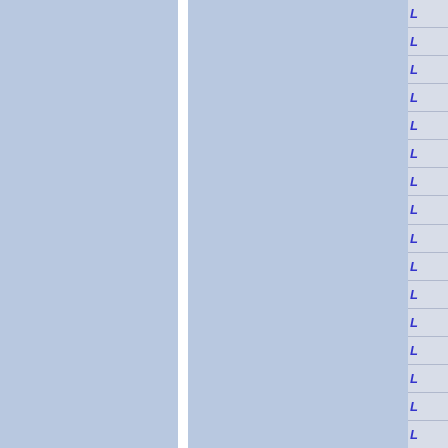[Figure (other): Page layout showing two blue panels separated by a white vertical divider, with a right sidebar containing 16 rows each showing a blue italic 'L' character on a light gray background with horizontal dividing lines.]